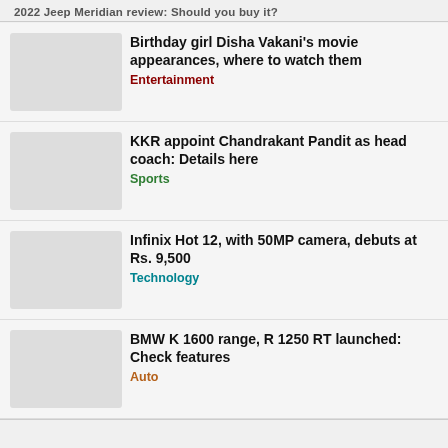2022 Jeep Meridian review: Should you buy it?
Birthday girl Disha Vakani's movie appearances, where to watch them
Entertainment
KKR appoint Chandrakant Pandit as head coach: Details here
Sports
Infinix Hot 12, with 50MP camera, debuts at Rs. 9,500
Technology
BMW K 1600 range, R 1250 RT launched: Check features
Auto